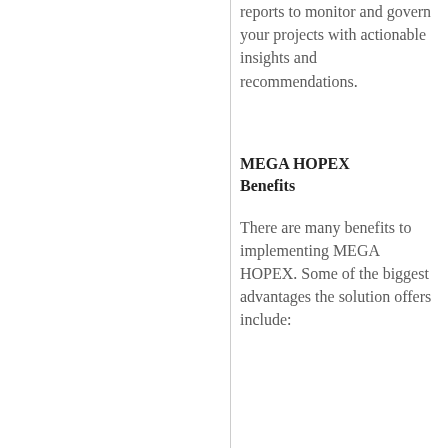reports to monitor and govern your projects with actionable insights and recommendations.
MEGA HOPEX Benefits
There are many benefits to implementing MEGA HOPEX. Some of the biggest advantages the solution offers include: